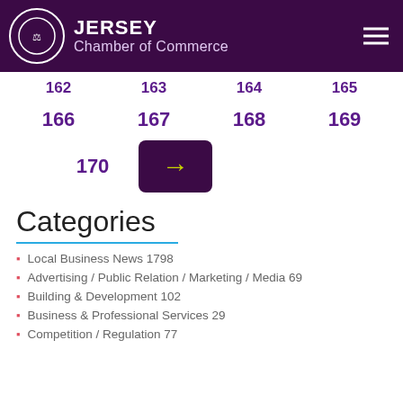JERSEY Chamber of Commerce
162  163  164  165
166  167  168  169
170  →
Categories
Local Business News 1798
Advertising / Public Relation / Marketing / Media 69
Building & Development 102
Business & Professional Services 29
Competition / Regulation 77